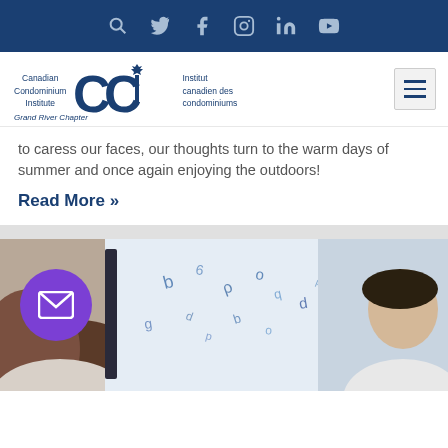Social media navigation bar with search, Twitter, Facebook, Instagram, LinkedIn, YouTube icons
[Figure (logo): Canadian Condominium Institute / Institut canadien des condominiums - Grand River Chapter logo with CCI in large blue letters]
to caress our faces, our thoughts turn to the warm days of summer and once again enjoying the outdoors!
Read More »
[Figure (photo): Two people facing each other across computer screens with blue letters and symbols floating between them; purple email circle icon overlaid on bottom left]